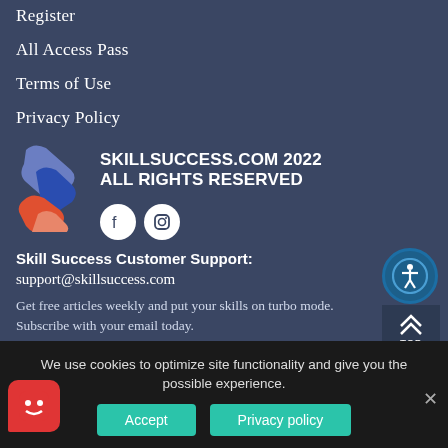Register
All Access Pass
Terms of Use
Privacy Policy
[Figure (logo): Skill Success stylized S logo in blue and orange]
SKILLSUCCESS.COM 2022 ALL RIGHTS RESERVED
[Figure (illustration): Facebook and Instagram social media icons]
[Figure (illustration): Accessibility icon button (person in circle)]
[Figure (illustration): TOP button with upward arrows]
Skill Success Customer Support:
support@skillsuccess.com
Get free articles weekly and put your skills on turbo mode. Subscribe with your email today.
[Figure (illustration): Chat bubble button icon]
We use cookies to optimize site functionality and give you the possible experience.
[Figure (illustration): Cookie consent robot/bot logo]
Accept
Privacy policy